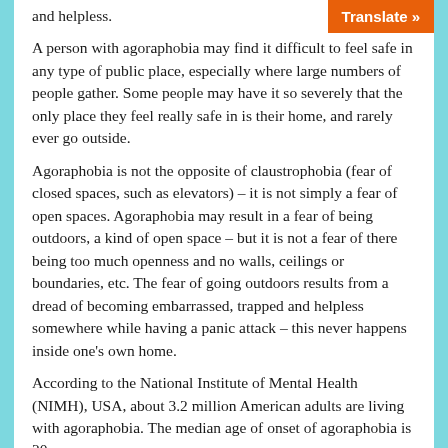and helpless.
A person with agoraphobia may find it difficult to feel safe in any type of public place, especially where large numbers of people gather. Some people may have it so severely that the only place they feel really safe in is their home, and rarely ever go outside.
Agoraphobia is not the opposite of claustrophobia (fear of closed spaces, such as elevators) – it is not simply a fear of open spaces. Agoraphobia may result in a fear of being outdoors, a kind of open space – but it is not a fear of there being too much openness and no walls, ceilings or boundaries, etc. The fear of going outdoors results from a dread of becoming embarrassed, trapped and helpless somewhere while having a panic attack – this never happens inside one's own home.
According to the National Institute of Mental Health (NIMH), USA, about 3.2 million American adults are living with agoraphobia. The median age of onset of agoraphobia is 20 years.
Physical symptoms of agoraphobia